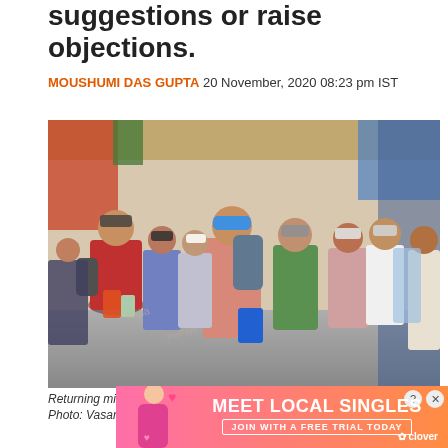suggestions or raise objections.
MOUSHUMI DAS GUPTA 20 November, 2020 08:23 pm IST
[Figure (photo): Crowd of people wearing masks lining up at Dadar Railway Station in Mumbai. A circular orange NEWS ASSISTANT badge is overlaid on the bottom-left of the image.]
Returning migrants line up at the Dadar Railway Station in Mumbai | Photo: Vasant Prabhu | ThePrint
[Figure (other): Advertisement banner with gradient pink-orange background showing 'MEET LOCAL SINGLES' with a person and Clover logo. Includes help and close icons.]